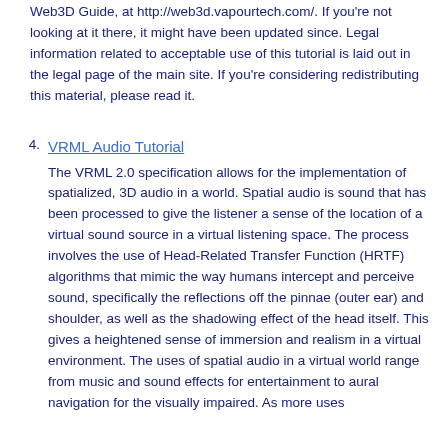Web3D Guide, at http://web3d.vapourtech.com/. If you're not looking at it there, it might have been updated since. Legal information related to acceptable use of this tutorial is laid out in the legal page of the main site. If you're considering redistributing this material, please read it.
4. VRML Audio Tutorial
The VRML 2.0 specification allows for the implementation of spatialized, 3D audio in a world. Spatial audio is sound that has been processed to give the listener a sense of the location of a virtual sound source in a virtual listening space. The process involves the use of Head-Related Transfer Function (HRTF) algorithms that mimic the way humans intercept and perceive sound, specifically the reflections off the pinnae (outer ear) and shoulder, as well as the shadowing effect of the head itself. This gives a heightened sense of immersion and realism in a virtual environment. The uses of spatial audio in a virtual world range from music and sound effects for entertainment to aural navigation for the visually impaired. As more uses